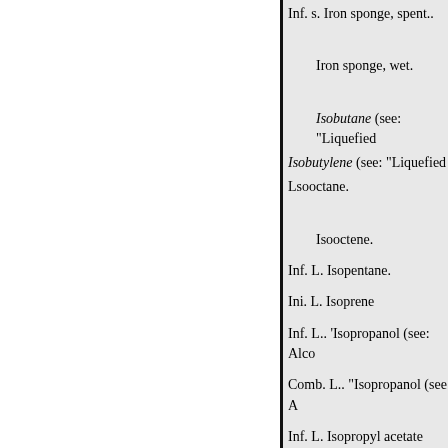Inf. s. Iron sponge, spent..
Iron sponge, wet.
Isobutane (see: "Liquefied
Isobutylene (see: “Liquefied
Lsooctane.
Isooctene.
Inf. L. Isopentane.
Ini. L. Isoprene
Inf. L.. 'Isopropanol (see: Alco
Comb. L.. "Isopropanol (see: A
Inf. L. Isopropyl acetate
Inf. L. Isopropyl mercaptan (s
Ini. L. Isopropyl percarbonate
Isopropyl percarbonate, uns